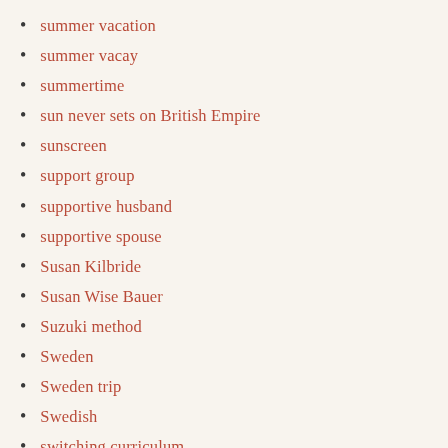summer vacation
summer vacay
summertime
sun never sets on British Empire
sunscreen
support group
supportive husband
supportive spouse
Susan Kilbride
Susan Wise Bauer
Suzuki method
Sweden
Sweden trip
Swedish
switching curriculum
switching from piano to harp
switching musical instruments
synoptical reading